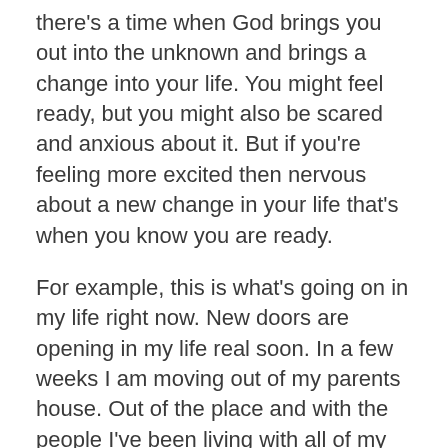there's a time when God brings you out into the unknown and brings a change into your life. You might feel ready, but you might also be scared and anxious about it. But if you're feeling more excited then nervous about a new change in your life that's when you know you are ready.
For example, this is what's going on in my life right now. New doors are opening in my life real soon. In a few weeks I am moving out of my parents house. Out of the place and with the people I've been living with all of my life. I will be moving to a new place with new roommates that I don't know. I met one of my roommates already and she is great but have yet to meet the others.